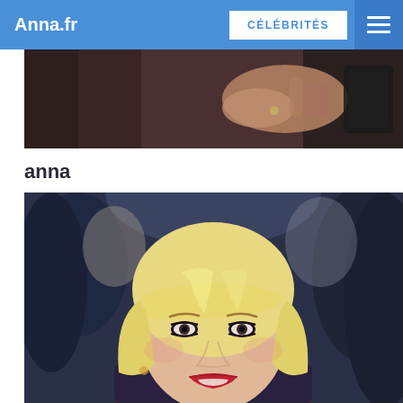Anna.fr | CÉLÉBRITÉS
[Figure (photo): Cropped partial photo showing dark background with a person's hand and a dark bag visible]
anna
[Figure (photo): Close-up portrait photo of a blonde woman with a bob haircut and bangs, smiling, wearing red lipstick, surrounded by blurred crowd]